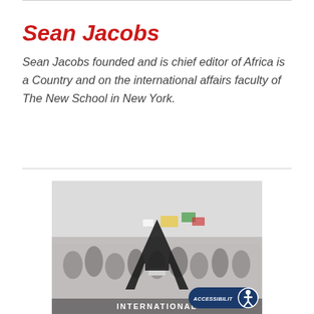Sean Jacobs
Sean Jacobs founded and is chief editor of Africa is a Country and on the international affairs faculty of The New School in New York.
[Figure (photo): Crowd of protesters with flags and banners, with a large stylized 'A' letterform overlaid on top. Text at bottom reads 'INTERNATIONAL'. An accessibility badge appears at the bottom right.]